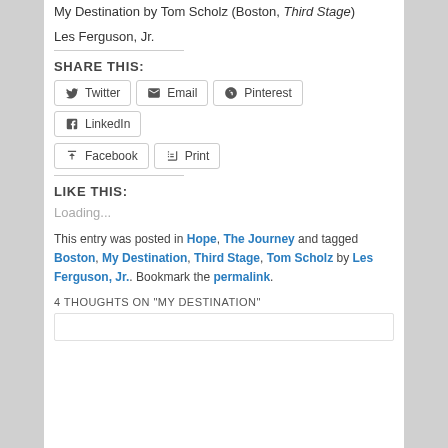My Destination by Tom Scholz (Boston, Third Stage)
Les Ferguson, Jr.
SHARE THIS:
Twitter | Email | Pinterest | LinkedIn | Facebook | Print
LIKE THIS:
Loading...
This entry was posted in Hope, The Journey and tagged Boston, My Destination, Third Stage, Tom Scholz by Les Ferguson, Jr.. Bookmark the permalink.
4 THOUGHTS ON "MY DESTINATION"